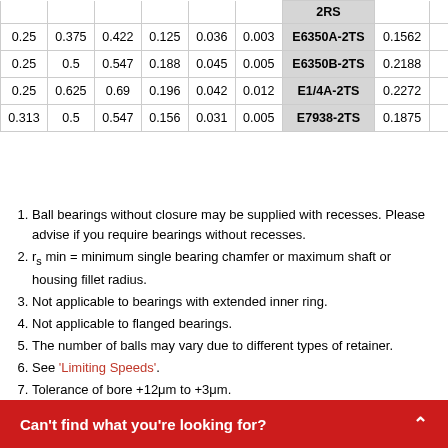|  |  |  |  |  |  |  |  |  |
| --- | --- | --- | --- | --- | --- | --- | --- | --- |
|  |  |  |  |  |  | 2RS |  |  |
| 0.25 | 0.375 | 0.422 | 0.125 | 0.036 | 0.003 | E6350A-2TS | 0.1562 |  |
| 0.25 | 0.5 | 0.547 | 0.188 | 0.045 | 0.005 | E6350B-2TS | 0.2188 |  |
| 0.25 | 0.625 | 0.69 | 0.196 | 0.042 | 0.012 | E1/4A-2TS | 0.2272 |  |
| 0.313 | 0.5 | 0.547 | 0.156 | 0.031 | 0.005 | E7938-2TS | 0.1875 |  |
Ball bearings without closure may be supplied with recesses. Please advise if you require bearings without recesses.
rs min = minimum single bearing chamfer or maximum shaft or housing fillet radius.
Not applicable to bearings with extended inner ring.
Not applicable to flanged bearings.
The number of balls may vary due to different types of retainer.
See 'Limiting Speeds'.
Tolerance of bore +12μm to +3μm.
Available in different width with closure.
Can't find what you're looking for?